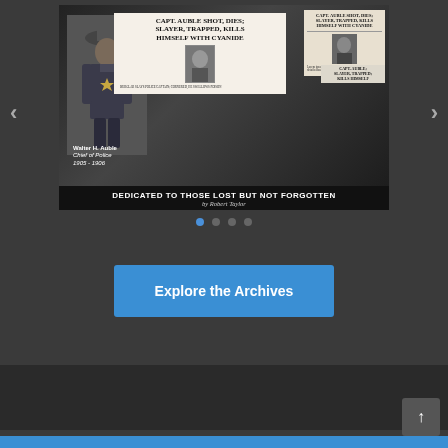[Figure (photo): Slideshow image showing a historical Los Angeles Police Museum exhibit page. Features a uniformed police officer (Walter H. Auble, Chief of Police 1905-1906) with newspaper clippings headlined 'CAPT. AUBLE SHOT, DIES; SLAYER, TRAPPED, KILLS HIMSELF WITH CYANIDE'. Bottom text reads 'DEDICATED TO THOSE LOST BUT NOT FORGOTTEN by Robert Taylor'. Navigation arrows on left and right sides. Carousel dots below indicating 4 slides, first active.]
Explore the Archives
[Figure (other): Back-to-top scroll button in bottom right corner]